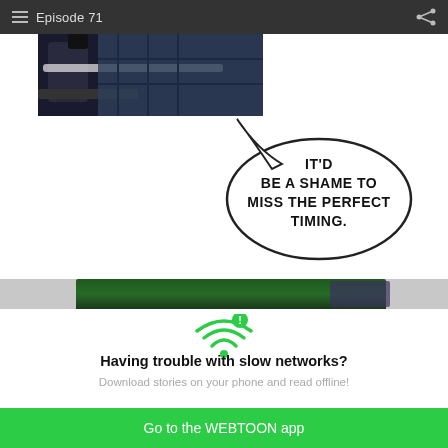Episode 71
[Figure (illustration): Comic panel showing dark clothing/bag artwork in the upper left, with an oval speech bubble on the right containing the text: IT'D BE A SHAME TO MISS THE PERFECT TIMING.]
[Figure (illustration): Partial comic panel at the bottom showing a dark green background, partially visible.]
[Figure (infographic): WiFi icon with exclamation mark indicating slow network warning]
Having trouble with slow networks?
Download stories on your phone and read offline!
Go to the WEBTOON app